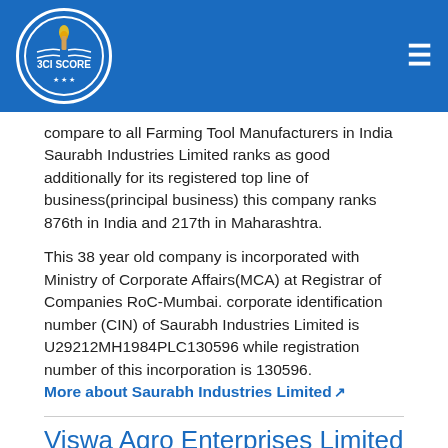3CI SCORE
compare to all Farming Tool Manufacturers in India Saurabh Industries Limited ranks as good additionally for its registered top line of business(principal business) this company ranks 876th in India and 217th in Maharashtra.
This 38 year old company is incorporated with Ministry of Corporate Affairs(MCA) at Registrar of Companies RoC-Mumbai. corporate identification number (CIN) of Saurabh Industries Limited is U29212MH1984PLC130596 while registration number of this incorporation is 130596.
More about Saurabh Industries Limited
Viswa Agro Enterprises Limited
Out of all Farming Tool Manufacturers in India Viswa Agro Enterprises Limited is 4th best. 3Ci Score of Viswa Agro Enterprises Limited is 72 ,for its registered main line of business this company ranks 4th in India and 1st in Tamil Nadu. In compare to all Farming Tool Manufacturers in India